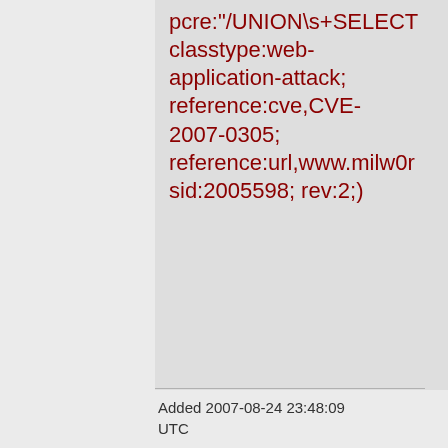pcre:"/UNION\s+SELECT classtype:web-application-attack; reference:cve,CVE-2007-0305; reference:url,www.milw0r sid:2005598; rev:2;)
Added 2007-08-24 23:48:09 UTC
alert tcp $EXTERNAL_NET any -> $HTTP_SERVERS $HTTP_PORTS (msg:"BLEEDING-EDGE WEB Okul Web Otomasyon